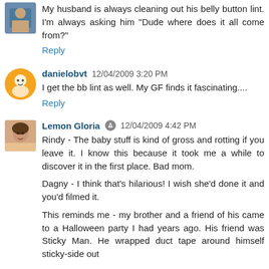My husband is always cleaning out his belly button lint. I'm always asking him "Dude where does it all come from?"
Reply
danielobvt  12/04/2009 3:20 PM
I get the bb lint as well. My GF finds it fascinating....
Reply
Lemon Gloria  12/04/2009 4:42 PM
Rindy - The baby stuff is kind of gross and rotting if you leave it. I know this because it took me a while to discover it in the first place. Bad mom.

Dagny - I think that's hilarious! I wish she'd done it and you'd filmed it.

This reminds me - my brother and a friend of his came to a Halloween party I had years ago. His friend was Sticky Man. He wrapped duct tape around himself sticky-side out